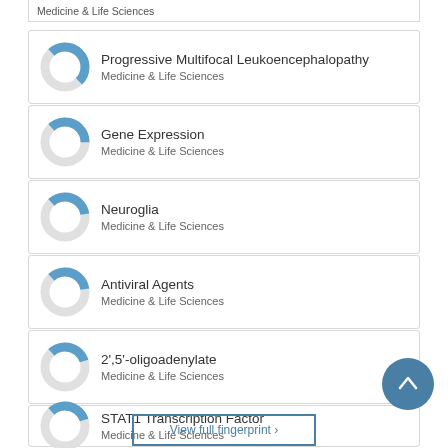Medicine & Life Sciences
Progressive Multifocal Leukoencephalopathy
Medicine & Life Sciences
Gene Expression
Medicine & Life Sciences
Neuroglia
Medicine & Life Sciences
Antiviral Agents
Medicine & Life Sciences
2',5'-oligoadenylate
Medicine & Life Sciences
STAT1 Transcription Factor
Medicine & Life Sciences
View full fingerprint ›